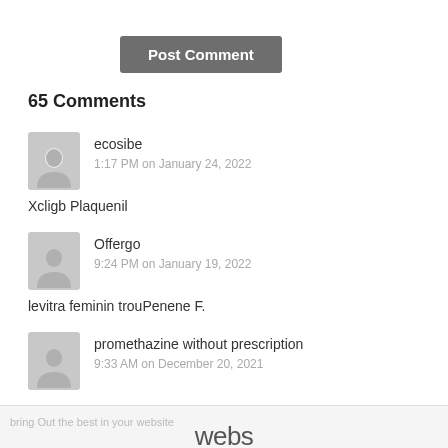Post Comment
65 Comments
ecosibe
1:17 PM on January 24, 2022
Xcligb Plaquenil
Offergo
9:24 PM on January 19, 2022
levitra feminin trouPenene F.
promethazine without prescription
9:33 AM on December 20, 2021
webs